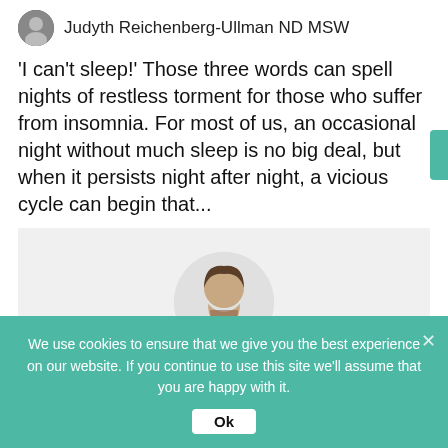Judyth Reichenberg-Ullman ND MSW
'I can't sleep!' Those three words can spell nights of restless torment for those who suffer from insomnia. For most of us, an occasional night without much sleep is no big deal, but when it persists night after night, a vicious cycle can begin that...
[Figure (photo): Circular headshot of a man with a beard wearing a blue shirt, on a light grey background panel]
We use cookies to ensure that we give you the best experience on our website. If you continue to use this site we'll assume that you are happy with it.
Ok